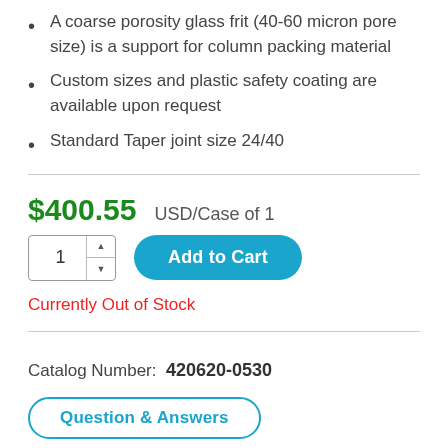A coarse porosity glass frit (40-60 micron pore size) is a support for column packing material
Custom sizes and plastic safety coating are available upon request
Standard Taper joint size 24/40
$400.55   USD/Case of 1
1  Add to Cart
Currently Out of Stock
Catalog Number:  420620-0530
Question & Answers